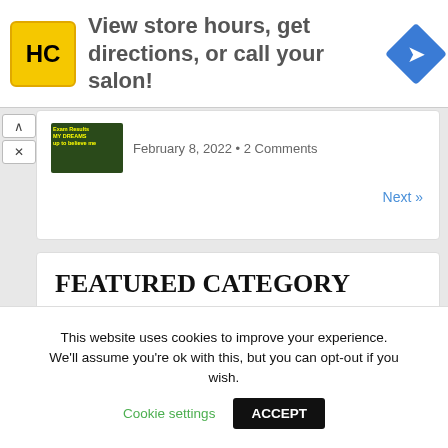[Figure (other): HC salon advertisement banner with yellow logo, text 'View store hours, get directions, or call your salon!' and blue diamond arrow icon]
February 8, 2022 • 2 Comments
Next »
FEATURED CATEGORY
Doctoral Scholarships in Law Science and Technology
This website uses cookies to improve your experience. We'll assume you're ok with this, but you can opt-out if you wish.
Cookie settings
ACCEPT